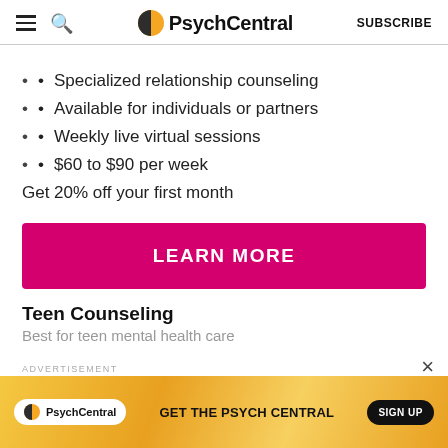PsychCentral | SUBSCRIBE
Specialized relationship counseling
Available for individuals or partners
Weekly live virtual sessions
$60 to $90 per week
Get 20% off your first month
LEARN MORE
Teen Counseling
Best for teen mental health care
ADVERTISEMENT
PsychCentral  GET THE PSYCH CENTRAL  SIGN UP